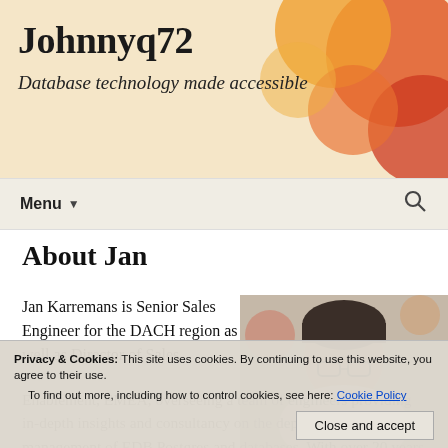Johnnyq72
Database technology made accessible
Menu
About Jan
Jan Karremans is Senior Sales Engineer for the DACH region as well as Director of Sales
[Figure (photo): Portrait photo of Jan Karremans, a man with glasses]
overseeing a team of engineers providing in-depth insights and consultancy on the deployment and management of EDB Postgres and databases. With over 20 years experience in the database
Privacy & Cookies: This site uses cookies. By continuing to use this website, you agree to their use.
To find out more, including how to control cookies, see here: Cookie Policy
Close and accept